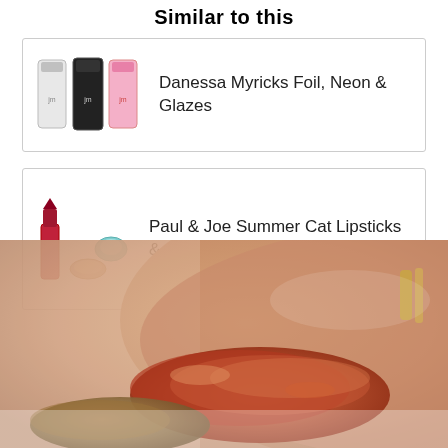Similar to this
Danessa Myricks Foil, Neon & Glazes
Paul & Joe Summer Cat Lipsticks & Shadows Are Here!
[Figure (photo): Close-up photo of a wrist/forearm with makeup swatches showing reddish-brown, terracotta, and bronze/gold shades]